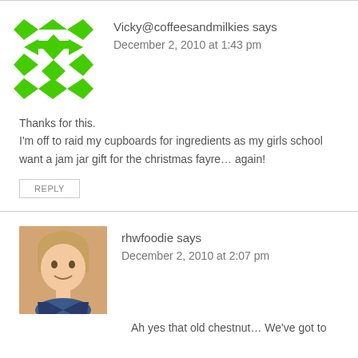Vicky@coffeesandmilkies says
December 2, 2010 at 1:43 pm
Thanks for this.
I'm off to raid my cupboards for ingredients as my girls school want a jam jar gift for the christmas fayre… again!
REPLY
rhwfoodie says
December 2, 2010 at 2:07 pm
Ah yes that old chestnut… We've got to